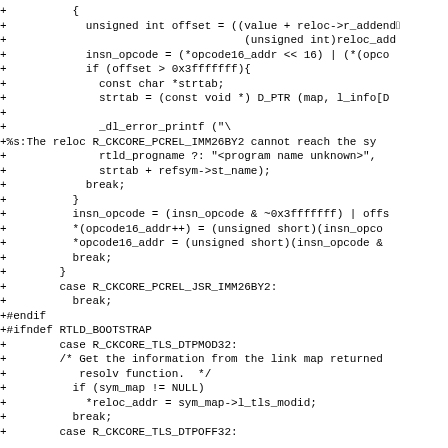+          {
+            unsigned int offset = ((value + reloc->r_addend
+                                    (unsigned int)reloc_add
+            insn_opcode = (*opcode16_addr << 16) | (*(opco
+            if (offset > 0x3fffffff){
+              const char *strtab;
+              strtab = (const void *) D_PTR (map, l_info[D
+
+              _dl_error_printf ("\
+%s:The reloc R_CKCORE_PCREL_IMM26BY2 cannot reach the sy
+              rtld_progname ?: "<program name unknown>",
+              strtab + refsym->st_name);
+            break;
+          }
+          insn_opcode = (insn_opcode & ~0x3fffffff) | offs
+          *(opcode16_addr++) = (unsigned short)(insn_opco
+          *opcode16_addr = (unsigned short)(insn_opcode &
+          break;
+        }
+        case R_CKCORE_PCREL_JSR_IMM26BY2:
+          break;
+#endif
+#ifndef RTLD_BOOTSTRAP
+        case R_CKCORE_TLS_DTPMOD32:
+        /* Get the information from the link map returned
+           resolv function.  */
+          if (sym_map != NULL)
+            *reloc_addr = sym_map->l_tls_modid;
+          break;
+        case R_CKCORE_TLS_DTPOFF32: